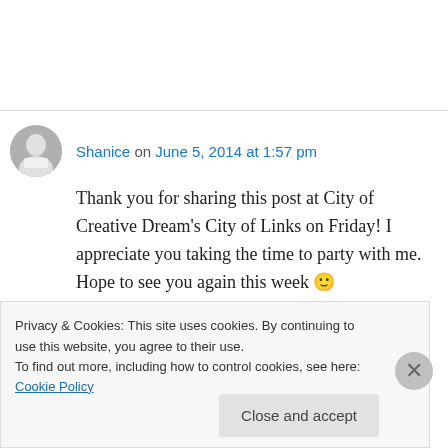Shanice on June 5, 2014 at 1:57 pm
Thank you for sharing this post at City of Creative Dream's City of Links on Friday! I appreciate you taking the time to party with me. Hope to see you again this week 🙂
↳ Reply
Privacy & Cookies: This site uses cookies. By continuing to use this website, you agree to their use. To find out more, including how to control cookies, see here: Cookie Policy
Close and accept